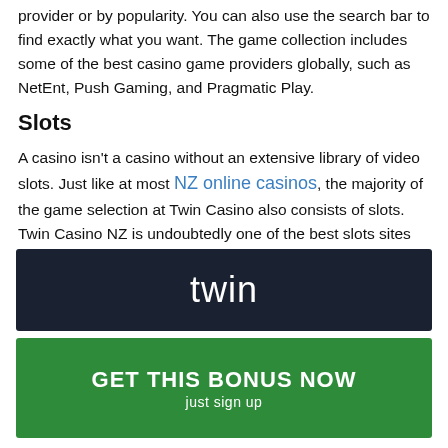provider or by popularity. You can also use the search bar to find exactly what you want. The game collection includes some of the best casino game providers globally, such as NetEnt, Push Gaming, and Pragmatic Play.
Slots
A casino isn't a casino without an extensive library of video slots. Just like at most NZ online casinos, the majority of the game selection at Twin Casino also consists of slots. Twin Casino NZ is undoubtedly one of the best slots sites available. Almost four hundred titles are listed on the slot games tab just under the main menu, with over 2.000 games
[Figure (logo): Twin Casino logo on dark navy background]
[Figure (infographic): Green call-to-action button: GET THIS BONUS NOW / just sign up]